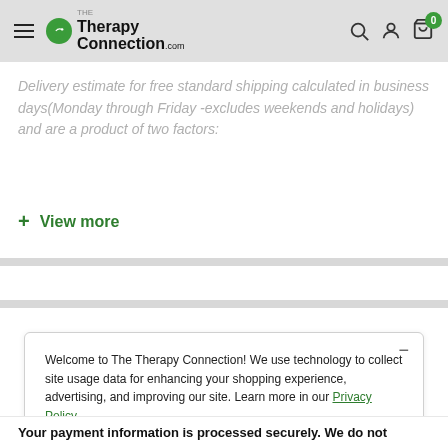Therapy Connection - navigation header with logo, search, account and cart icons
Delivery estimate for free standard shipping calculated in business days(Monday through Friday -excludes weekends and holidays) and are a product of two factors:
+ View more
Welcome to The Therapy Connection! We use technology to collect site usage data for enhancing your shopping experience, advertising, and improving our site. Learn more in our Privacy Policy.
Accept
Your payment information is processed securely. We do not